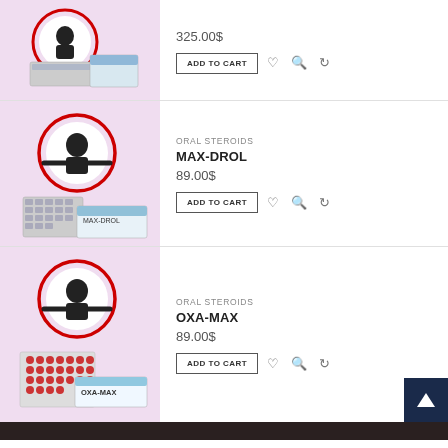[Figure (photo): Product image for injectable steroid blister pack with box, lavender background, roidsinjections.com logo]
325.00$
ADD TO CART
ORAL STEROIDS
MAX-DROL
89.00$
ADD TO CART
[Figure (photo): Product image for MAX-DROL oral steroid blister pack and box, lavender background, roidsinjections.com logo]
ORAL STEROIDS
OXA-MAX
89.00$
ADD TO CART
[Figure (photo): Product image for OXA-MAX oral steroid blister pack and box, lavender background, roidsinjections.com logo]